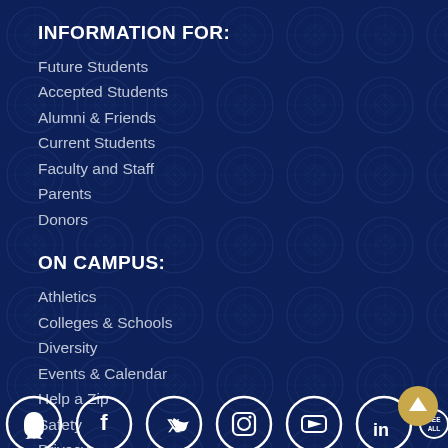INFORMATION FOR:
Future Students
Accepted Students
Alumni & Friends
Current Students
Faculty and Staff
Parents
Donors
ON CAMPUS:
Athletics
Colleges & Schools
Diversity
Events & Calendar
Help a Zip
Safety
Privacy
[Figure (illustration): Social media icons row at bottom: Snapchat, Facebook, Twitter, Instagram, YouTube, LinkedIn, and a 'SEE ALL' icon. A gold back-to-top arrow button in the bottom right.]